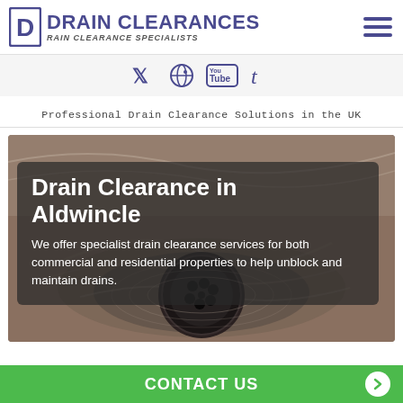[Figure (logo): Drain Clearances logo with icon showing letter D and text DRAIN CLEARANCES / RAIN CLEARANCE SPECIALISTS]
[Figure (infographic): Social media icons: Twitter, Pinterest, YouTube, Tumblr in purple color on grey background]
Professional Drain Clearance Solutions in the UK
[Figure (photo): Photo of a drain with water swirling around it, dark overlay box with text: Drain Clearance in Aldwincle. We offer specialist drain clearance services for both commercial and residential properties to help unblock and maintain drains.]
Drain Clearance in Aldwincle
We offer specialist drain clearance services for both commercial and residential properties to help unblock and maintain drains.
CONTACT US